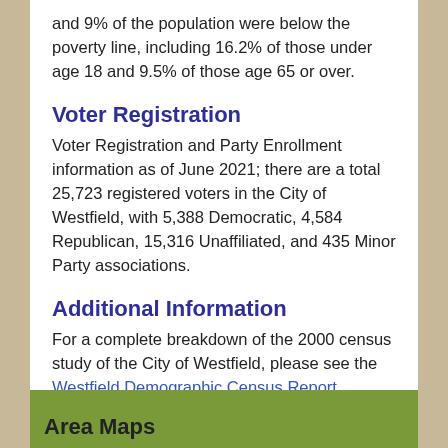and 9% of the population were below the poverty line, including 16.2% of those under age 18 and 9.5% of those age 65 or over.
Voter Registration
Voter Registration and Party Enrollment information as of June 2021; there are a total 25,723 registered voters in the City of Westfield, with 5,388 Democratic, 4,584 Republican, 15,316 Unaffiliated, and 435 Minor Party associations.
Additional Information
For a complete breakdown of the 2000 census study of the City of Westfield, please see the Westfield Demographic Census Report.
ClearGov Westfield Demographics
Pioneer Valley Planning Commission Demographics
Area Maps